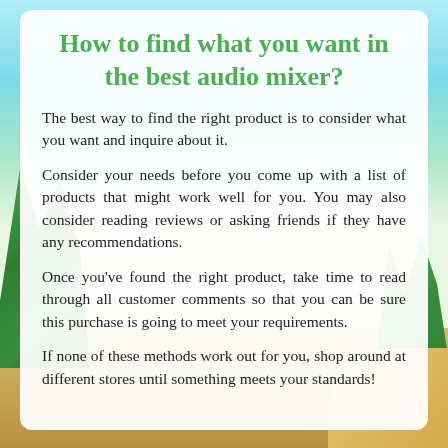How to find what you want in the best audio mixer?
The best way to find the right product is to consider what you want and inquire about it.
Consider your needs before you come up with a list of products that might work well for you. You may also consider reading reviews or asking friends if they have any recommendations.
Once you've found the right product, take time to read through all customer comments so that you can be sure this purchase is going to meet your requirements.
If none of these methods work out for you, shop around at different stores until something meets your standards!